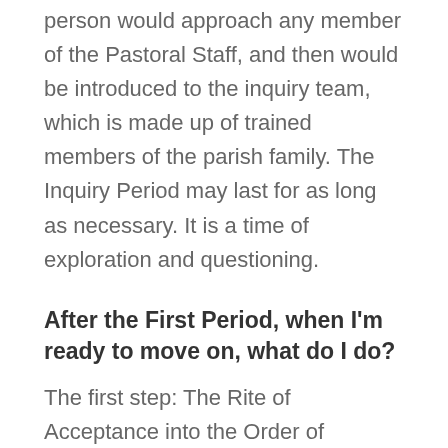person would approach any member of the Pastoral Staff, and then would be introduced to the inquiry team, which is made up of trained members of the parish family. The Inquiry Period may last for as long as necessary. It is a time of exploration and questioning.
After the First Period, when I'm ready to move on, what do I do?
The first step: The Rite of Acceptance into the Order of Catechumens
Once a person has come to know the Person of Jesus Christ, and has reached the point of initial conversion and expresses a desire to become a